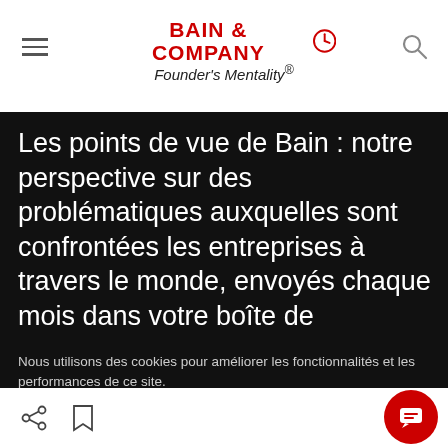BAIN & COMPANY Founder's Mentality®
Les points de vue de Bain : notre perspective sur des problématiques auxquelles sont confrontées les entreprises à travers le monde, envoyés chaque mois dans votre boîte de
Nous utilisons des cookies pour améliorer les fonctionnalités et les performances de ce site.
AUTORISER TOUS LES COOKIES